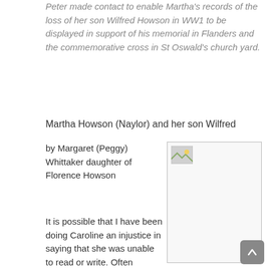Peter made contact to enable Martha's records of the loss of her son Wilfred Howson in WW1 to be displayed in support of his memorial in Flanders and the commemorative cross in St Oswald's church yard.
Martha Howson (Naylor) and her son Wilfred
by Margaret (Peggy) Whittaker daughter of Florence Howson
[Figure (photo): A photograph placeholder showing a small image icon in the top-left corner of a bordered white box]
It is possible that I have been doing Caroline an injustice in saying that she was unable to read or write. Often villages had Dame Schools where children were sent for a penny or so a week to 'learn their letters'. In any event there is no doubt that her daughters, at least the two youngest could (I never remember